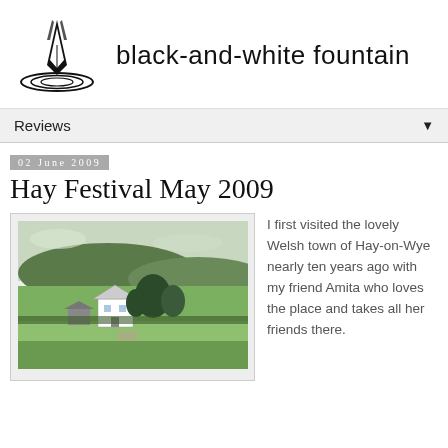black-and-white fountain
Reviews
02 June 2009
Hay Festival May 2009
[Figure (photo): Landscape photo showing green fields, a white house, trees and rolling hills in Hay-on-Wye, Wales]
I first visited the lovely Welsh town of Hay-on-Wye nearly ten years ago with my friend Amita who loves the place and takes all her friends there.